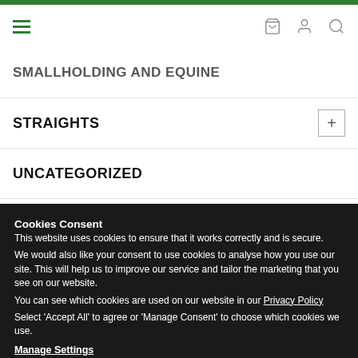Navigation header with hamburger menu and icons
SMALLHOLDING AND EQUINE
STRAIGHTS
UNCATEGORIZED
WILD BIRD
Cookies Consent
This website uses cookies to ensure that it works correctly and is secure.
We would also like your consent to use cookies to analyse how you use our site. This will help us to improve our service and tailor the marketing that you see on our website.
You can see which cookies are used on our website in our Privacy Policy
Select 'Accept All' to agree or 'Manage Consent' to choose which cookies we use.
Manage Settings
[Accept All button]